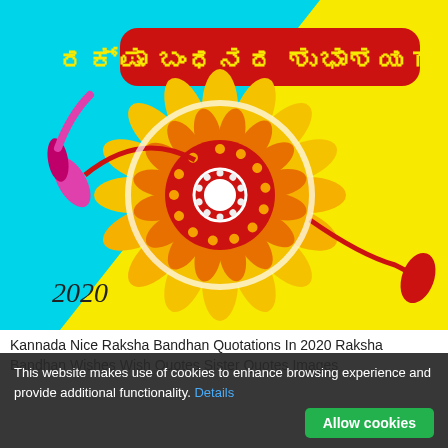[Figure (illustration): Raksha Bandhan greeting card illustration with yellow and cyan diagonal background. Red rounded rectangle banner at top with Kannada text 'ರಕ್ಷಾ ಬಂಧನದ ಶುಭಾಶಯಗಳು!' (Happy Raksha Bandhan!). Center shows a decorative rakhi (sunflower-shaped with yellow petals and red circular center with white pearls), with pink/magenta tassels upper-left and red cord/tassel lower-right. '2020' text in bottom-left corner.]
Kannada Nice Raksha Bandhan Quotations In 2020 Raksha Bandhan Wishes Wish Quotes Sister Quotes Images
This website makes use of cookies to enhance browsing experience and provide additional functionality. Details